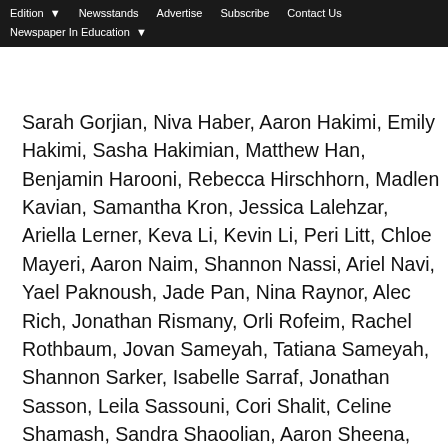Edition ▾   Newsstands   Advertise   Subscribe   Contact Us   Newspaper In Education ▾
Sarah Gorjian, Niva Haber, Aaron Hakimi, Emily Hakimi, Sasha Hakimian, Matthew Han, Benjamin Harooni, Rebecca Hirschhorn, Madlen Kavian, Samantha Kron, Jessica Lalehzar, Ariella Lerner, Keva Li, Kevin Li, Peri Litt, Chloe Mayeri, Aaron Naim, Shannon Nassi, Ariel Navi, Yael Paknoush, Jade Pan, Nina Raynor, Alec Rich, Jonathan Rismany, Orli Rofeim, Rachel Rothbaum, Jovan Sameyah, Tatiana Sameyah, Shannon Sarker, Isabelle Sarraf, Jonathan Sasson, Leila Sassouni, Cori Shalit, Celine Shamash, Sandra Shaoolian, Aaron Sheena, Kimberly Shokrian, Amy Shteyman, Kimber Simchayof, Jacqueline Slobin, Noa Solemanyan, Elena Sundick, Alexa Tubian, Cheryl Tung, Jenna Uhr, Gabriela Veras, Fernanda Wenzel, Elana Xu, Rebecca Yaminian, Isabel Yang, Hodaya Yazdanpanah, Ashley Youssefi, Marc Zalt, Sharlene Zar and Elaine Zhang. Presenting the awards were Board of Education President